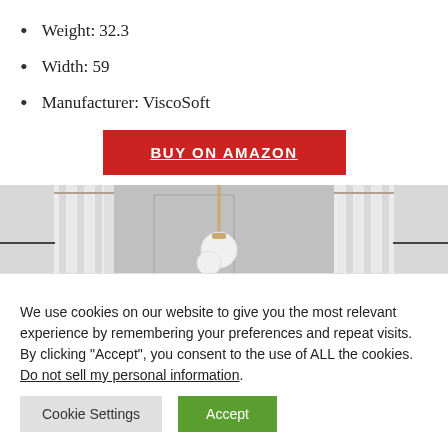Weight: 32.3
Width: 59
Manufacturer: ViscoSoft
[Figure (other): Button: BUY ON AMAZON in red background with white bold uppercase text]
[Figure (photo): Interior room scene with gray walls, white curtains, and a globe light fixture on a brass stand]
We use cookies on our website to give you the most relevant experience by remembering your preferences and repeat visits. By clicking “Accept”, you consent to the use of ALL the cookies. Do not sell my personal information.